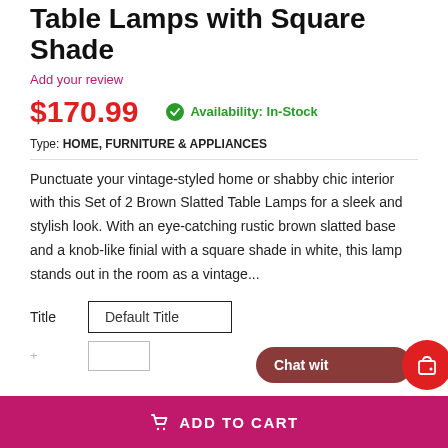Table Lamps with Square Shade
Add your review
$170.99
Availability: In-Stock
Type: HOME, FURNITURE & APPLIANCES
Punctuate your vintage-styled home or shabby chic interior with this Set of 2 Brown Slatted Table Lamps for a sleek and stylish look. With an eye-catching rustic brown slatted base and a knob-like finial with a square shade in white, this lamp stands out in the room as a vintage...
Title   Default Title
ADD TO CART